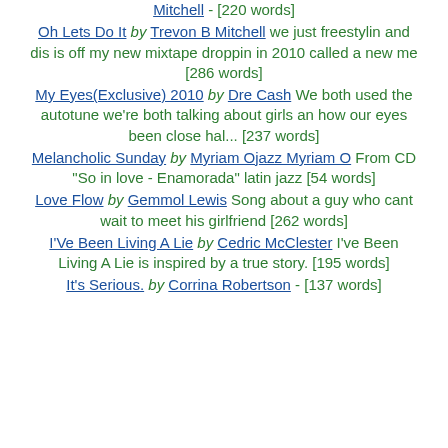Mitchell - [220 words]
Oh Lets Do It by Trevon B Mitchell we just freestylin and dis is off my new mixtape droppin in 2010 called a new me [286 words]
My Eyes(Exclusive) 2010 by Dre Cash We both used the autotune we're both talking about girls an how our eyes been close hal... [237 words]
Melancholic Sunday by Myriam Ojazz Myriam O From CD "So in love - Enamorada" latin jazz [54 words]
Love Flow by Gemmol Lewis Song about a guy who cant wait to meet his girlfriend [262 words]
I'Ve Been Living A Lie by Cedric McClester I've Been Living A Lie is inspired by a true story. [195 words]
It's Serious. by Corrina Robertson - [137 words]